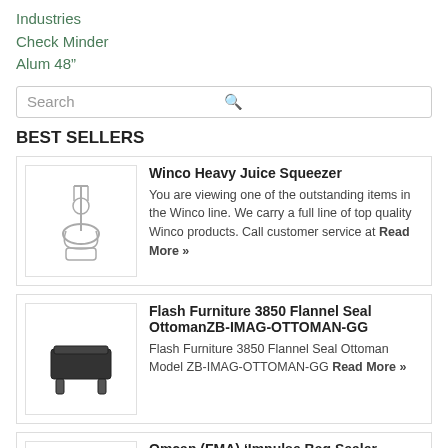Industries
Check Minder
Alum 48"
Search
BEST SELLERS
[Figure (photo): Winco Heavy Juice Squeezer product image]
Winco Heavy Juice Squeezer
You are viewing one of the outstanding items in the Winco line. We carry a full line of top quality Winco products. Call customer service at Read More »
[Figure (photo): Flash Furniture 3850 Flannel Seal Ottoman product image]
Flash Furniture 3850 Flannel Seal OttomanZB-IMAG-OTTOMAN-GG
Flash Furniture 3850 Flannel Seal Ottoman Model ZB-IMAG-OTTOMAN-GG Read More »
[Figure (photo): Omcan (FMA) Impulse Bag Sealer product image]
Omcan (FMA) 'Impulse Bag Sealer, manual, 12" bar, adjustable time & light indicator
Manufacturer #: 14448 Please call our customer service